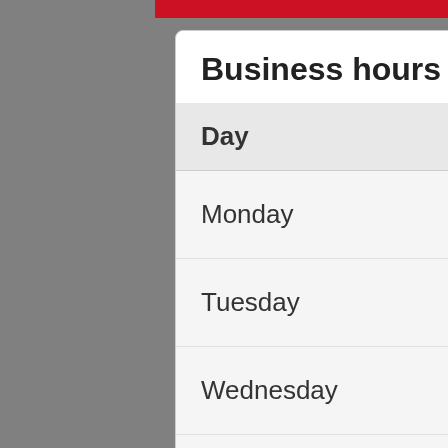Business hours
| Day | Hours |
| --- | --- |
| Monday | 10:00 AM to 5:00 PM |
| Tuesday | 10:00 AM to 5:00 PM |
| Wednesday | 10:00 AM to 5:00 PM |
| Thursday | 10:00 AM to 5:00 PM |
| Friday | 10:00 AM to 5:00 PM |
| Saturday | Closed |